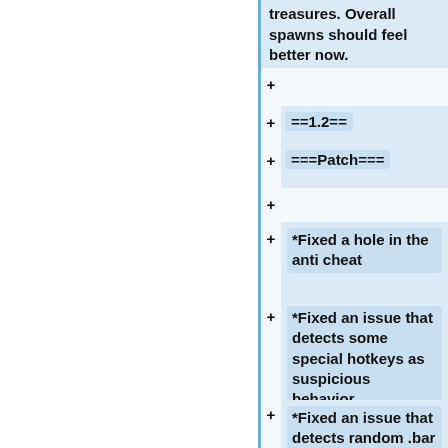treasures. Overall spawns should feel better now.
+
+==1.2==
+===Patch===
+
*Fixed a hole in the anti cheat
*Fixed an issue that detects some special hotkeys as suspicious behavior
*Fixed an issue that detects random .bar (fonts.bar, data.bar ...) as suspicious behavior